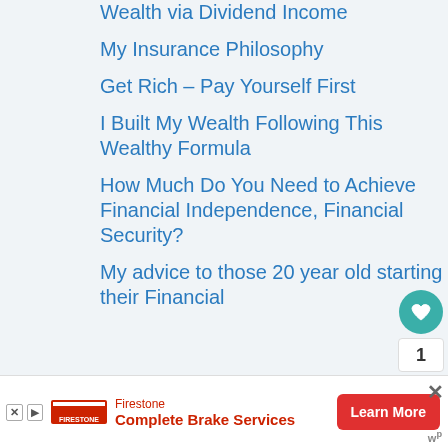Wealth via Dividend Income
My Insurance Philosophy
Get Rich – Pay Yourself First
I Built My Wealth Following This Wealthy Formula
How Much Do You Need to Achieve Financial Independence, Financial Security?
My advice to those 20 year old starting their Financial
1
Firestone Complete Brake Services Learn More